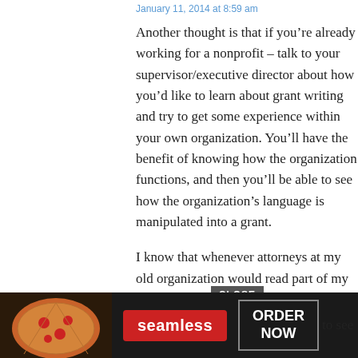January 11, 2014 at 8:59 am
Another thought is that if you’re already working for a nonprofit – talk to your supervisor/executive director about how you’d like to learn about grant writing and try to get some experience within your own organization. You’ll have the benefit of knowing how the organization functions, and then you’ll be able to see how the organization’s language is manipulated into a grant.
I know that whenever attorneys at my old organization would read part of my grants, they would get really irritated because I cut out too much “incredibly important” (their opinion) detail. It wasn’t what would work for the grant, and a huge part of my job was being able to say
[Figure (screenshot): Advertisement overlay: Seamless food delivery ad with pizza image, red 'seamless' button, 'ORDER NOW' button, and partial text 'to see'. A 'CLOSE' button appears above the ad.]